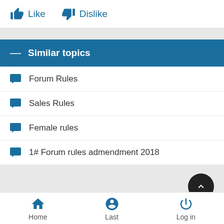Like   Dislike
Similar topics
Forum Rules
Sales Rules
Female rules
1# Forum rules admendment 2018
Home   Last   Log in